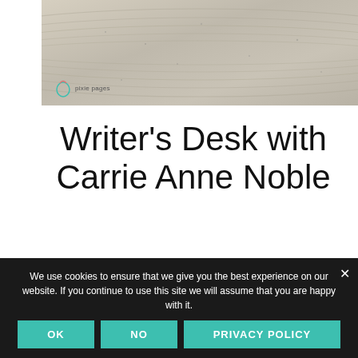[Figure (photo): Close-up photo of a woven/braided hat or basket texture in beige/tan color, with a small logo (pixie pages) in the bottom left corner of the image.]
Writer's Desk with Carrie Anne Noble
In the wake of her thrilling past as a theater student, restaurant hostess, nurse aide, and newspaper writer, Carrie Anne Noble now crafts enchanting fiction for teens and
We use cookies to ensure that we give you the best experience on our website. If you continue to use this site we will assume that you are happy with it.